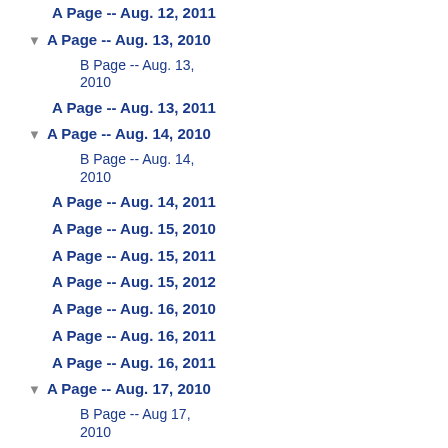A Page -- Aug. 12, 2011
A Page -- Aug. 13, 2010 (expandable)
B Page -- Aug. 13, 2010
A Page -- Aug. 13, 2011
A Page -- Aug. 14, 2010 (expandable)
B Page -- Aug. 14, 2010
A Page -- Aug. 14, 2011
A Page -- Aug. 15, 2010
A Page -- Aug. 15, 2011
A Page -- Aug. 15, 2012
A Page -- Aug. 16, 2010
A Page -- Aug. 16, 2011
A Page -- Aug. 16, 2011
A Page -- Aug. 17, 2010 (expandable)
B Page -- Aug 17, 2010
A Page -- Aug. 17, 2011
A Page -- Aug. 17, 2012
A Page -- Aug. 18, 2011
A Page -- Aug. 18, 2012
A Page -- Aug. 19, 2010 (expandable)